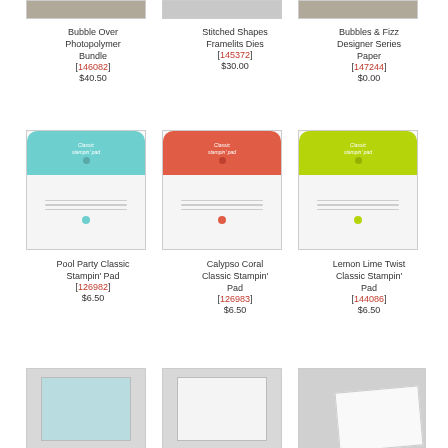[Figure (photo): Three product images partially cropped at top of page]
Bubble Over Photopolymer Bundle [146082] $40.50
Stitched Shapes Framelits Dies [145372] $30.00
Bubbles & Fizz Designer Series Paper [147244] $0.00
[Figure (photo): Pool Party Classic Stampin Pad - teal colored ink pad]
[Figure (photo): Calypso Coral Classic Stampin Pad - coral/red colored ink pad]
[Figure (photo): Lemon Lime Twist Classic Stampin Pad - lime green colored ink pad]
Pool Party Classic Stampin' Pad [126982] $6.50
Calypso Coral Classic Stampin' Pad [126983] $6.50
Lemon Lime Twist Classic Stampin' Pad [144086] $6.50
[Figure (photo): Three product images partially visible at bottom of page - light blue cardstock, white cardstock, white paper sheets]